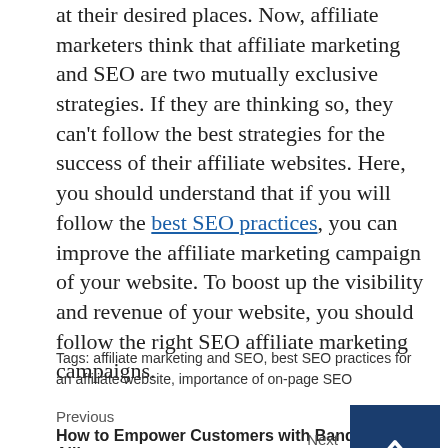at their desired places. Now, affiliate marketers think that affiliate marketing and SEO are two mutually exclusive strategies. If they are thinking so, they can't follow the best strategies for the success of their affiliate websites. Here, you should understand that if you will follow the best SEO practices, you can improve the affiliate marketing campaign of your website. To boost up the visibility and revenue of your website, you should follow the right SEO affiliate marketing campaigns.
Tags: affiliate marketing and SEO, best SEO practices for an affiliate website, importance of on-page SEO
Previous
How to Empower Customers with Bandwidth Alliance
Next